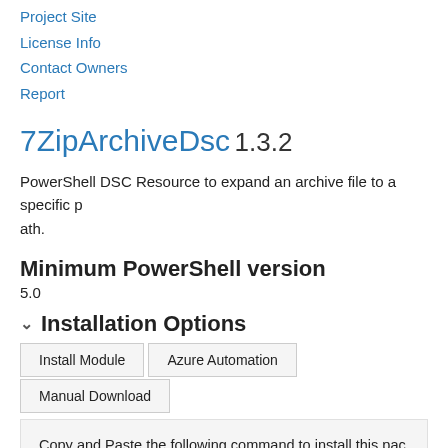Project Site
License Info
Contact Owners
Report
7ZipArchiveDsc 1.3.2
PowerShell DSC Resource to expand an archive file to a specific path.
Minimum PowerShell version
5.0
Installation Options
Install Module | Azure Automation | Manual Download
Copy and Paste the following command to install this package using PowerShellGet More Info